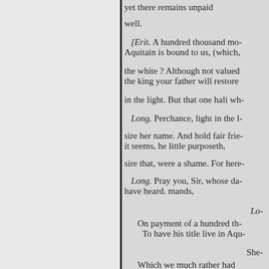yet there remains unpaid
well.
[Erit. A hundred thousand mo- Aquitain is bound to us, (which,
the white ? Although not valued the king your father will restore
in the light. But that one hali wh-
Long. Perchance, light in the l-
sire her name. And hold fair frie- it seems, he little purposeth,
sire that, were a shame. For here-
Long. Pray you, Sir, whose da- have heard. mands,
Lo-
On payment of a hundred th- To have his title live in Aqu-
She-
Which we much rather had And have the money by our- Than Aquitain so yielded -